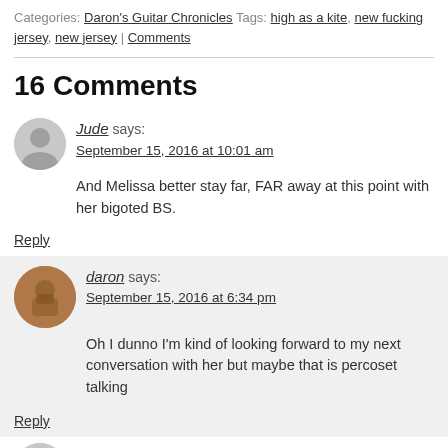Categories: Daron's Guitar Chronicles Tags: high as a kite, new fucking jersey, new jersey | Comments
16 Comments
Jude says: September 15, 2016 at 10:01 am
And Melissa better stay far, FAR away at this point with her bigoted BS.
Reply
daron says: September 15, 2016 at 6:34 pm
Oh I dunno I'm kind of looking forward to my next conversation with her but maybe that is percoset talking
Reply
s says: